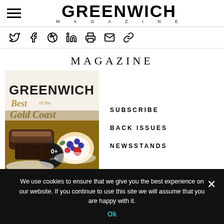GREENWICH MAGAZINE
[Figure (screenshot): Social media sharing icons: Twitter, Facebook, Pinterest, LinkedIn, Print, Email, Link]
MAGAZINE
[Figure (illustration): Greenwich Magazine cover showing 'Best of the Gold Coast' with 170+ categories, featuring food photography including eclairs and a berry tart]
SUBSCRIBE
BACK ISSUES
NEWSSTANDS
We use cookies to ensure that we give you the best experience on our website. If you continue to use this site we will assume that you are happy with it.
Ok